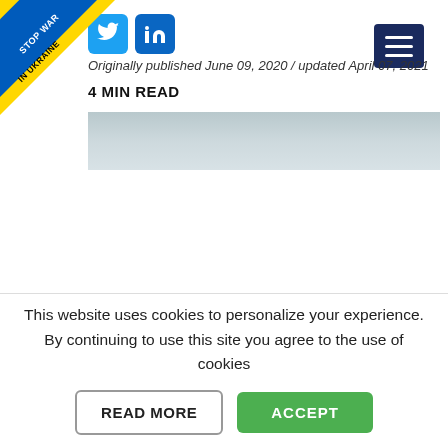[Figure (illustration): Ukraine Stop War banner ribbon in blue and yellow diagonal across top-left corner]
[Figure (logo): Twitter bird icon in blue rounded square]
[Figure (logo): LinkedIn 'in' icon in blue rounded square]
[Figure (illustration): Dark navy blue hamburger menu icon in top-right corner]
Originally published June 09, 2020 / updated April 07, 2021
4 MIN READ
[Figure (photo): Partial view of a tablet or monitor screen in a light environment]
If you want to take your online
This website uses cookies to personalize your experience. By continuing to use this site you agree to the use of cookies
READ MORE
ACCEPT